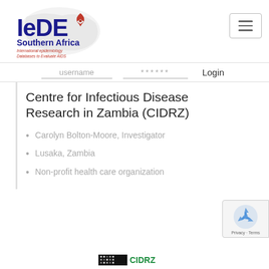[Figure (logo): IeDEA Southern Africa logo with red ribbon, navy blue text, Africa map outline, and subtitle 'International epidemiology Databases to Evaluate AIDS']
[Figure (other): Hamburger menu button (three horizontal lines) in a rounded rectangle border]
username
******
Login
Centre for Infectious Disease Research in Zambia (CIDRZ)
Carolyn Bolton-Moore, Investigator
Lusaka, Zambia
Non-profit health care organization
[Figure (logo): CIDRZ logo at the bottom of the page]
[Figure (other): Google reCAPTCHA badge with recycling arrow logo and 'Privacy - Terms' text]